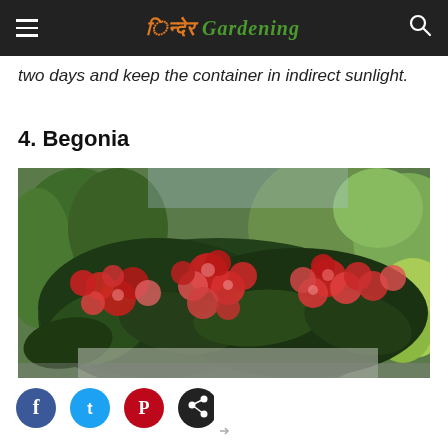India Gardening
two days and keep the container in indirect sunlight.
4. Begonia
[Figure (photo): Photograph of a Begonia plant with abundant red and pink flowers and dark green leaves, with green shrubs and garden background.]
[Figure (infographic): Social sharing icons: Facebook (dark blue circle), Twitter (light blue circle), Pinterest (red circle), and a black circle share icon.]